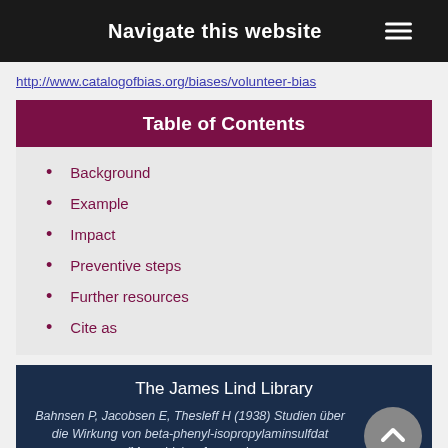Navigate this website ☰
http://www.catalogofbias.org/biases/volunteer-bias
Table of Contents
Background
Example
Impact
Preventive steps
Further resources
Cite as
The James Lind Library
Bahnsen P, Jacobsen E, Thesleff H (1938) Studien über die Wirkung von beta-phenyl-isopropylaminsulfdat (Mecodrin) auf normale